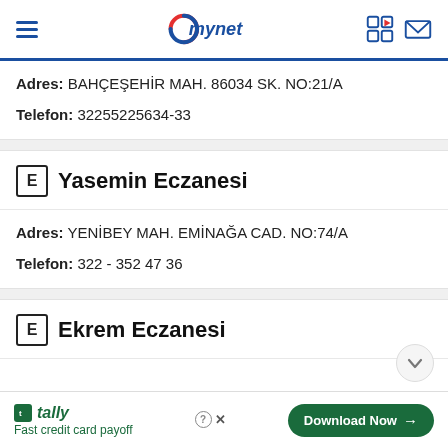mynet
Adres: BAHÇEŞEHİR MAH. 86034 SK. NO:21/A
Telefon: 32255225634-33
E Yasemin Eczanesi
Adres: YENİBEY MAH. EMİNAĞA CAD. NO:74/A
Telefon: 322 - 352 47 36
E Ekrem Eczanesi
tally Fast credit card payoff Download Now →